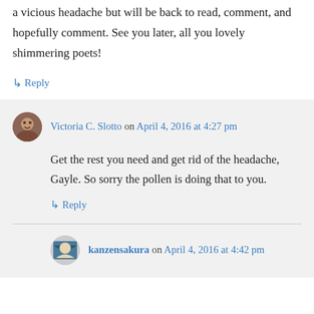a vicious headache but will be back to read, comment, and hopefully comment. See you later, all you lovely shimmering poets!
↳ Reply
Victoria C. Slotto on April 4, 2016 at 4:27 pm
Get the rest you need and get rid of the headache, Gayle. So sorry the pollen is doing that to you.
↳ Reply
kanzensakura on April 4, 2016 at 4:42 pm